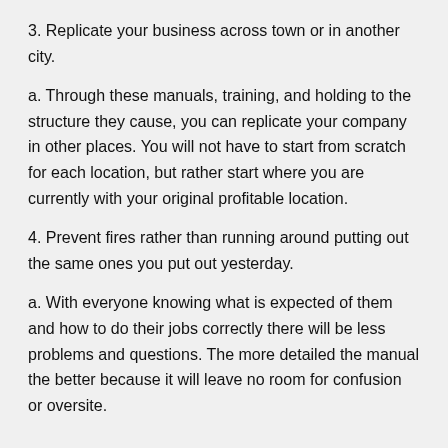3. Replicate your business across town or in another city.
a. Through these manuals, training, and holding to the structure they cause, you can replicate your company in other places. You will not have to start from scratch for each location, but rather start where you are currently with your original profitable location.
4. Prevent fires rather than running around putting out the same ones you put out yesterday.
a. With everyone knowing what is expected of them and how to do their jobs correctly there will be less problems and questions. The more detailed the manual the better because it will leave no room for confusion or oversite.